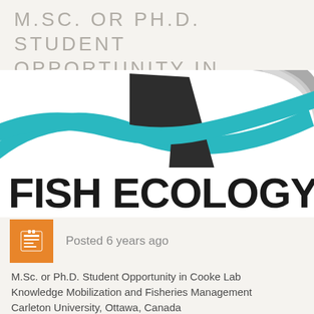M.SC. OR PH.D. STUDENT OPPORTUNITY IN COOKE LAB!
[Figure (logo): Fish Ecology lab logo with teal wave/fish shape and dark angular element on white background, with gray arc in top right. Bold text 'FISH ECOLOGY &' below the graphic.]
Posted 6 years ago
M.Sc. or Ph.D. Student Opportunity in Cooke Lab
Knowledge Mobilization and Fisheries Management
Carleton University, Ottawa, Canada